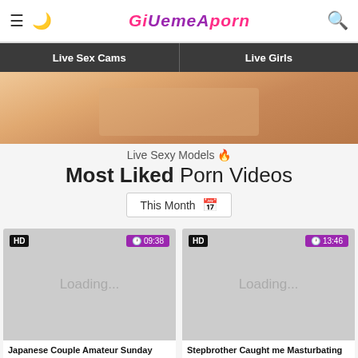GiveMeAPorn – Live Sex Cams | Live Girls
[Figure (photo): Cropped banner image showing skin/hands in warm tones]
Live Sexy Models 🔥
Most Liked Porn Videos
This Month 📅
[Figure (screenshot): Video thumbnail loading placeholder for 'Japanese Couple Amateur Sunday Morning, an Active' – HD, 09:38]
Japanese Couple Amateur Sunday Morning, an Active
[Figure (screenshot): Video thumbnail loading placeholder for 'Stepbrother Caught me Masturbating & Totally' – HD, 13:46]
Stepbrother Caught me Masturbating & Totally